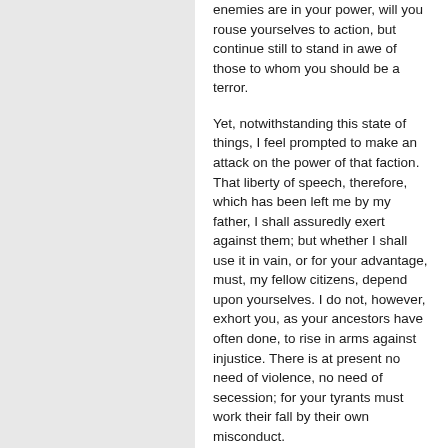enemies are in your power, will you rouse yourselves to action, but continue still to stand in awe of those to whom you should be a terror.
Yet, notwithstanding this state of things, I feel prompted to make an attack on the power of that faction. That liberty of speech, therefore, which has been left me by my father, I shall assuredly exert against them; but whether I shall use it in vain, or for your advantage, must, my fellow citizens, depend upon yourselves. I do not, however, exhort you, as your ancestors have often done, to rise in arms against injustice. There is at present no need of violence, no need of secession; for your tyrants must work their fall by their own misconduct.